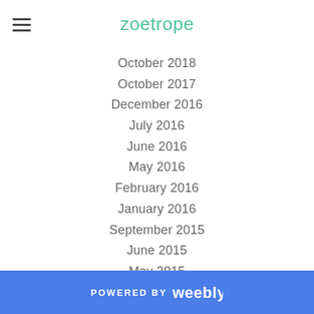zoetrope
October 2018
October 2017
December 2016
July 2016
June 2016
May 2016
February 2016
January 2016
September 2015
June 2015
May 2015
April 2015
February 2015
November 2014
September 2014
August 2014
July 2014
POWERED BY weebly